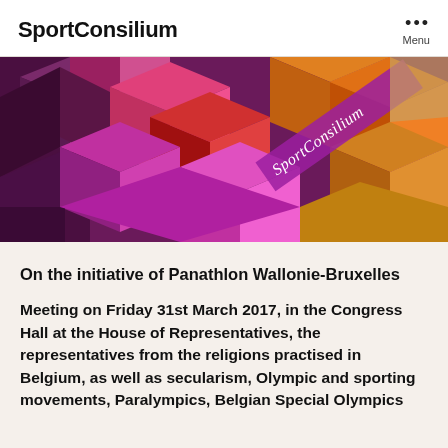SportConsilium
[Figure (illustration): SportConsilium branded banner image with colorful 3D geometric cube shapes in purple, pink, magenta, red, orange and gold tones. 'SportConsilium' text appears diagonally in white italic letters on the right side of the image.]
On the initiative of Panathlon Wallonie-Bruxelles
Meeting on Friday 31st March 2017, in the Congress Hall at the House of Representatives, the representatives from the religions practised in Belgium, as well as secularism, Olympic and sporting movements, Paralympics, Belgian Special Olympics